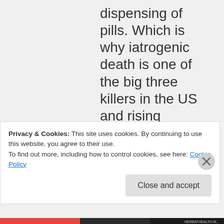dispensing of pills. Which is why iatrogenic death is one of the big three killers in the US and rising everywhere
Privacy & Cookies: This site uses cookies. By continuing to use this website, you agree to their use.
To find out more, including how to control cookies, see here: Cookie Policy